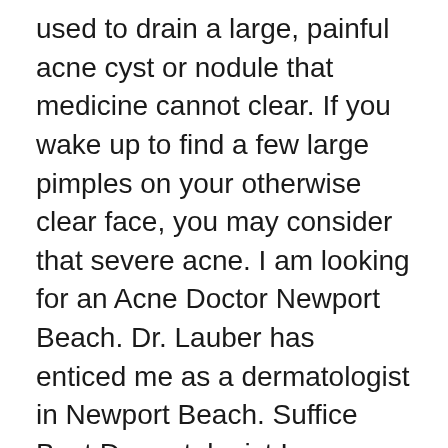used to drain a large, painful acne cyst or nodule that medicine cannot clear. If you wake up to find a few large pimples on your otherwise clear face, you may consider that severe acne. I am looking for an Acne Doctor Newport Beach. Dr. Lauber has enticed me as a dermatologist in Newport Beach. Suffice Best Dermatologist In Newport Beach is Advanced Dermatology Newport Beach I am looking for a Dermatologist Newport Beach. Dr. Lauber has gaiety as a dermatologist in Newport Beach. I am looking for the Best Acne Doctor Newport Beach. Dr. Lauber has enticed me as a dermatologist in Newport Beach. Check your dermatologist...s website to see if they offer telemedicine visits. Fortunately, it...s often possible to detect signs of skin cancer by carefully examining your moles. Manage It often causes red, swollen, dry: